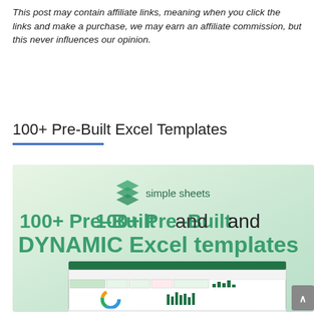This post may contain affiliate links, meaning when you click the links and make a purchase, we may earn an affiliate commission, but this never influences our opinion.
100+ Pre-Built Excel Templates
[Figure (screenshot): Simple Sheets advertisement banner showing '100+ Pre-Built and DYNAMIC Excel templates' with a screenshot of Excel spreadsheet dashboards below, on a green gradient background with the Simple Sheets logo at top.]